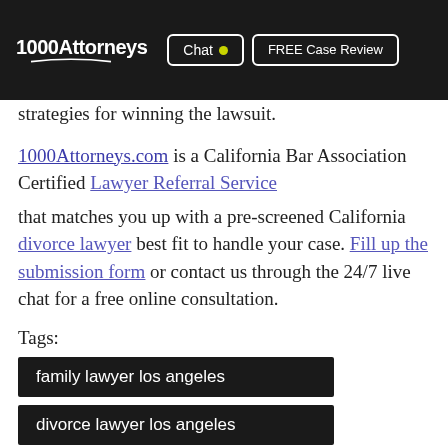1000Attorneys | Chat | FREE Case Review
strategies for winning the lawsuit.
1000Attorneys.com is a California Bar Association Certified Lawyer Referral Service that matches you up with a pre-screened California divorce lawyer best fit to handle your case. Fill up the submission form or contact us through the 24/7 live chat for a free online consultation.
Tags:
family lawyer los angeles
divorce lawyer los angeles